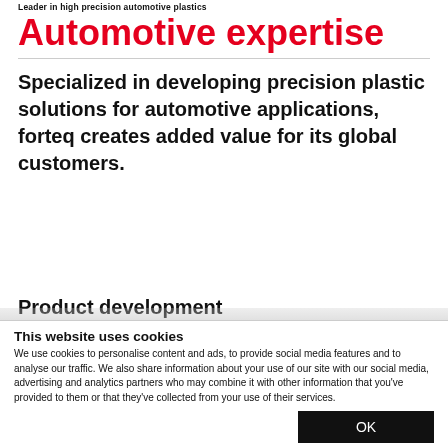Leader in high precision automotive plastics
Automotive expertise
Specialized in developing precision plastic solutions for automotive applications, forteq creates added value for its global customers.
Product development
This website uses cookies
We use cookies to personalise content and ads, to provide social media features and to analyse our traffic. We also share information about your use of our site with our social media, advertising and analytics partners who may combine it with other information that you've provided to them or that they've collected from your use of their services.
OK
Necessary  Preferences  Statistics  Marketing  Show details